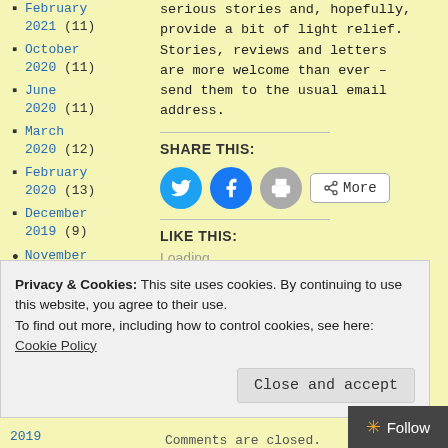February 2021 (11)
October 2020 (11)
June 2020 (11)
March 2020 (12)
February 2020 (13)
December 2019 (9)
November 2019 (12)
serious stories and, hopefully, provide a bit of light relief. Stories, reviews and letters are more welcome than ever – send them to the usual email address.
SHARE THIS:
[Figure (screenshot): Social share buttons: Twitter (blue circle), Facebook (blue circle), Print (grey circle), More (button with share icon)]
LIKE THIS:
Loading...
Privacy & Cookies: This site uses cookies. By continuing to use this website, you agree to their use. To find out more, including how to control cookies, see here: Cookie Policy
2019 (8)
Comments are closed.